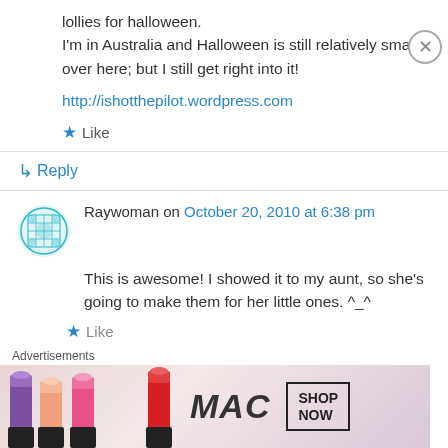lollies for halloween.
I'm in Australia and Halloween is still relatively small over here; but I still get right into it!
http://ishotthepilot.wordpress.com
Like
↳ Reply
Raywoman on October 20, 2010 at 6:38 pm
This is awesome! I showed it to my aunt, so she's going to make them for her little ones. ^_^
Like
Advertisements